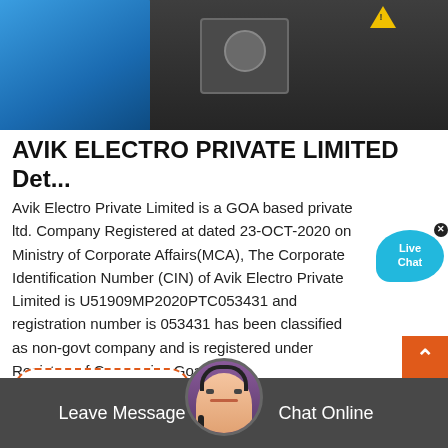[Figure (photo): Industrial machinery photo — blue and dark metal machines with a warning triangle sticker visible in the top right area of the image]
AVIK ELECTRO PRIVATE LIMITED Det...
Avik Electro Private Limited is a GOA based private ltd. Company Registered at dated 23-OCT-2020 on Ministry of Corporate Affairs(MCA), The Corporate Identification Number (CIN) of Avik Electro Private Limited is U51909MP2020PTC053431 and registration number is 053431 has been classified as non-govt company and is registered under Registrar of Companies Goa India.
Read More
Leave Message
Chat Online